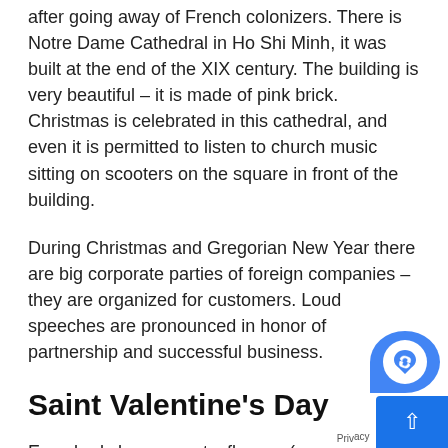after going away of French colonizers. There is Notre Dame Cathedral in Ho Shi Minh, it was built at the end of the XIX century. The building is very beautiful – it is made of pink brick. Christmas is celebrated in this cathedral, and even it is permitted to listen to church music sitting on scooters on the square in front of the building.
During Christmas and Gregorian New Year there are big corporate parties of foreign companies – they are organized for customers. Loud speeches are pronounced in honor of partnership and successful business.
Saint Valentine's Day
Everybody buys sweets, flowers (roses are the most popular), perfume – and it happens in the country, where work ethic and commitment of the nation ar… the first place! Young people, students buy Valentine